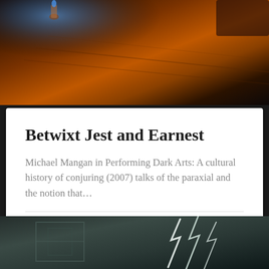[Figure (photo): Dark atmospheric photo with warm candlelight glow on a wooden surface, dark reddish-orange tones]
Betwixt Jest and Earnest
Michael Mangan in Performing Dark Arts: A cultural history of conjuring (2007) talks of the paraxial and the notion that…
October 23, 2015
[Figure (photo): Dark teal-toned photo showing architectural elements with bright white lightning or light streaks across the image]